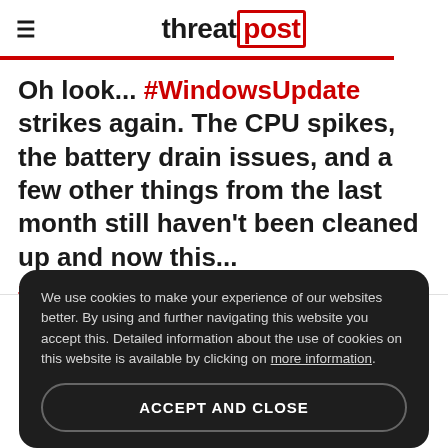threat post
Oh look... #WindowsUpdate strikes again. The CPU spikes, the battery drain issues, and a few other things from the last month still haven't been cleaned up and now this... #Win10 stick a fork in it... https://t.co/yPxwE3bm9J
We use cookies to make your experience of our websites better. By using and further navigating this website you accept this. Detailed information about the use of cookies on this website is available by clicking on more information.
ACCEPT AND CLOSE